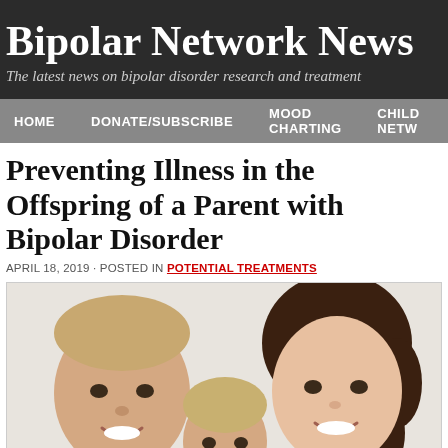Bipolar Network News
The latest news on bipolar disorder research and treatment
HOME | DONATE/SUBSCRIBE | MOOD CHARTING | CHILD NETW...
Preventing Illness in the Offspring of a Parent with Bipolar Disorder
APRIL 18, 2019 · POSTED IN POTENTIAL TREATMENTS
[Figure (photo): A smiling family of three: father on the left, mother on the right, and a young child in the center foreground, photographed against a white/light background.]